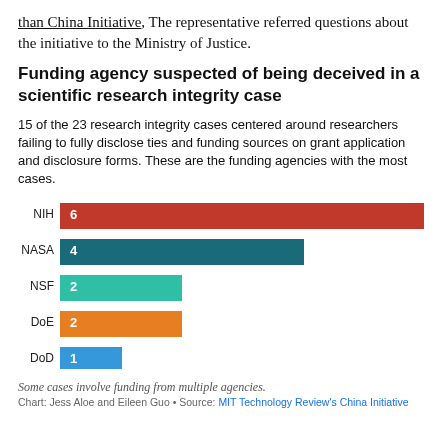than China Initiative, The representative referred questions about the initiative to the Ministry of Justice.
Funding agency suspected of being deceived in a scientific research integrity case
15 of the 23 research integrity cases centered around researchers failing to fully disclose ties and funding sources on grant application and disclosure forms. These are the funding agencies with the most cases.
[Figure (bar-chart): Funding agencies with the most cases]
Some cases involve funding from multiple agencies.
Chart: Jess Aloe and Eileen Guo • Source: MIT Technology Review's China Initiative